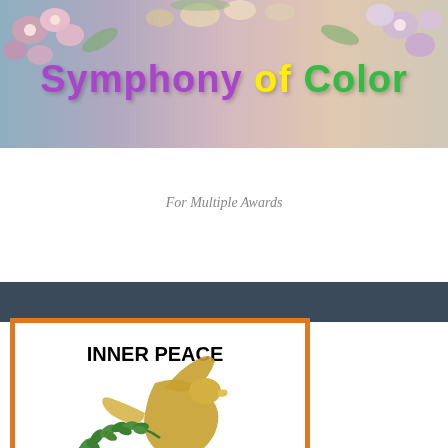[Figure (illustration): Floral banner background with colorful flowers and text overlay reading 'Symphony of Color']
Symphony of Color
For Multiple Awards
[Figure (illustration): Inner Peace Award badge with orange border containing a golden dove carrying an olive branch held by a purple hand, labeled INNER PEACE AWARD]